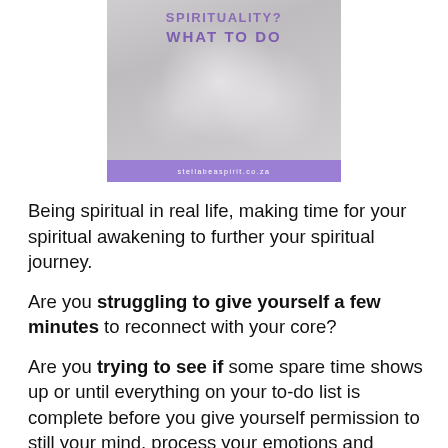[Figure (illustration): Book or article cover image with purple text reading 'SPIRITUALITY? WHAT TO DO' on a grey bokeh background, with a purple footer bar showing 'stellabeaspirit.co.za']
Being spiritual in real life, making time for your spiritual awakening to further your spiritual journey.
Are you struggling to give yourself a few minutes to reconnect with your core?
Are you trying to see if some spare time shows up or until everything on your to-do list is complete before you give yourself permission to still your mind, process your emotions and replenish your connection with